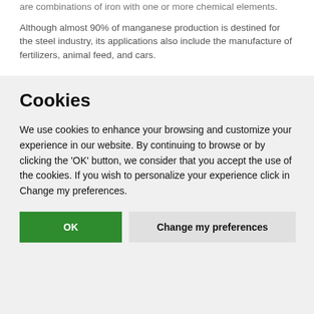are combinations of iron with one or more chemical elements.
Although almost 90% of manganese production is destined for the steel industry, its applications also include the manufacture of fertilizers, animal feed, and cars.
Cookies
We use cookies to enhance your browsing and customize your experience in our website. By continuing to browse or by clicking the 'OK' button, we consider that you accept the use of the cookies. If you wish to personalize your experience click in Change my preferences.
OK  Change my preferences